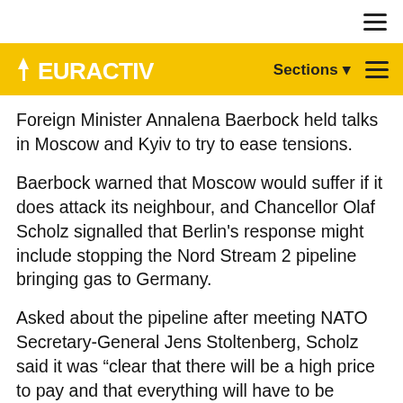EURACTIV — Sections — navigation header
Foreign Minister Annalena Baerbock held talks in Moscow and Kyiv to try to ease tensions.
Baerbock warned that Moscow would suffer if it does attack its neighbour, and Chancellor Olaf Scholz signalled that Berlin's response might include stopping the Nord Stream 2 pipeline bringing gas to Germany.
Asked about the pipeline after meeting NATO Secretary-General Jens Stoltenberg, Scholz said it was "clear that there will be a high price to pay and that everything will have to be discussed should there be a military intervention in Ukraine".
Scholz has previously said Germany is open to sanctions in the event of a Russian attack and that